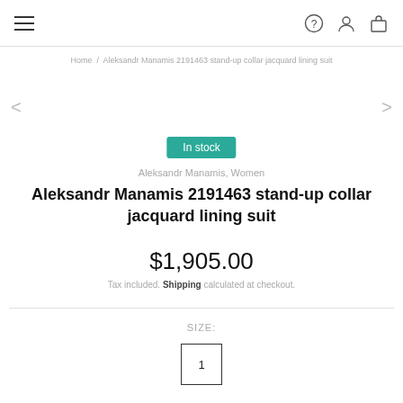≡  ?  (user icon)  (bag icon)
Home / Aleksandr Manamis 2191463 stand-up collar jacquard lining suit
< (previous arrow)
> (next arrow)
In stock
Aleksandr Manamis, Women
Aleksandr Manamis 2191463 stand-up collar jacquard lining suit
$1,905.00
Tax included. Shipping calculated at checkout.
SIZE:
1